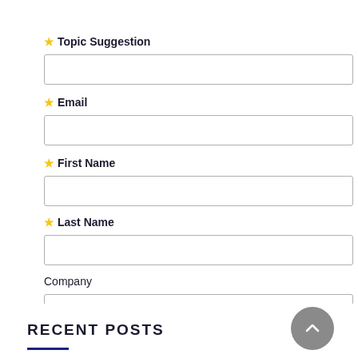★ Topic Suggestion
★ Email
★ First Name
★ Last Name
Company
RECENT POSTS